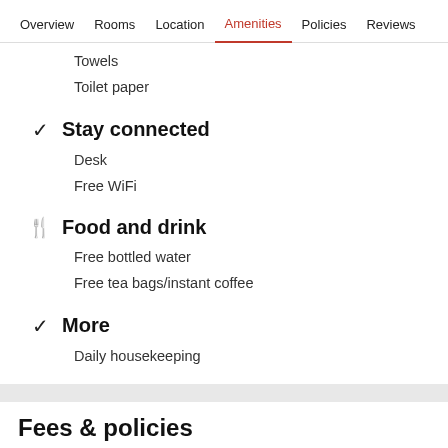Overview  Rooms  Location  Amenities  Policies  Reviews
Towels
Toilet paper
Stay connected
Desk
Free WiFi
Food and drink
Free bottled water
Free tea bags/instant coffee
More
Daily housekeeping
Fees & policies